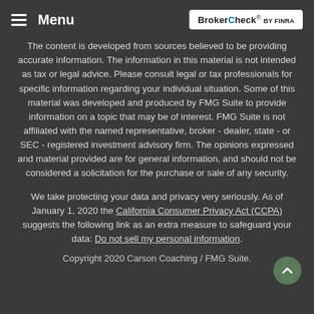Menu | BrokerCheck by FINRA
The content is developed from sources believed to be providing accurate information. The information in this material is not intended as tax or legal advice. Please consult legal or tax professionals for specific information regarding your individual situation. Some of this material was developed and produced by FMG Suite to provide information on a topic that may be of interest. FMG Suite is not affiliated with the named representative, broker - dealer, state - or SEC - registered investment advisory firm. The opinions expressed and material provided are for general information, and should not be considered a solicitation for the purchase or sale of any security.
We take protecting your data and privacy very seriously. As of January 1, 2020 the California Consumer Privacy Act (CCPA) suggests the following link as an extra measure to safeguard your data: Do not sell my personal information.
Copyright 2020 Carson Coaching / FMG Suite.